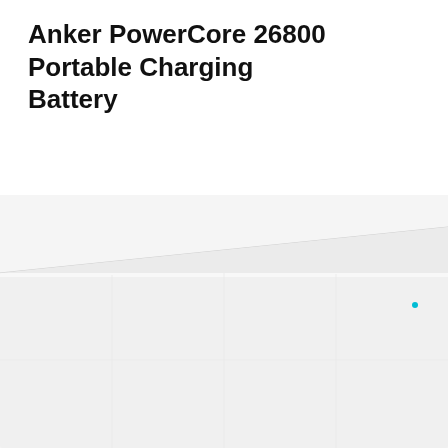Anker PowerCore 26800 Portable Charging Battery
[Figure (photo): Photo of the Anker PowerCore 26800 portable charging battery device, showing a large rectangular white/silver power bank viewed at an angle from above. The image is washed out and mostly white/light gray.]